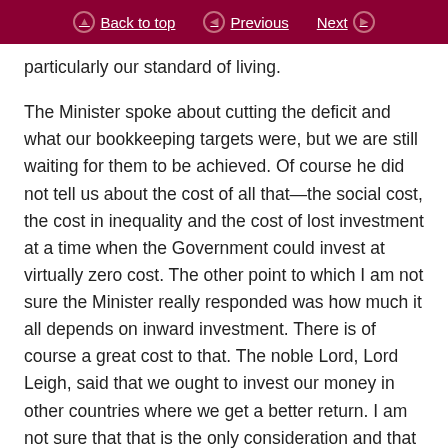Back to top  Previous  Next
particularly our standard of living.
The Minister spoke about cutting the deficit and what our bookkeeping targets were, but we are still waiting for them to be achieved. Of course he did not tell us about the cost of all that—the social cost, the cost in inequality and the cost of lost investment at a time when the Government could invest at virtually zero cost. The other point to which I am not sure the Minister really responded was how much it all depends on inward investment. There is of course a great cost to that. The noble Lord, Lord Leigh, said that we ought to invest our money in other countries where we get a better return. I am not sure that that is the only consideration and that we are wise now to depend so much on inward